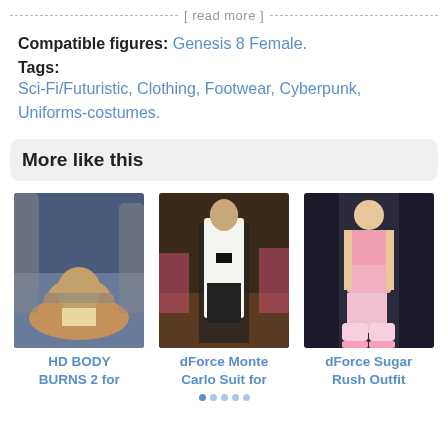[ read more ]
Compatible figures: Genesis 8 Female.
Tags: Sci-Fi/Futuristic, Clothing, Footwear, Cyberpunk, Uniforms-costumes.
More like this
[Figure (photo): 3D render of a muscular male figure kneeling, shirtless, with a cloth around waist, in a classical architectural setting]
HD BODY BURNS 2 for
[Figure (photo): 3D render of a man in a white tuxedo jacket and black pants, standing in a casino setting]
dForce Monte Carlo Suit for
[Figure (photo): 3D render of a blonde female figure in a pink outfit with knee-high socks, standing against dark background]
dForce Sugar Rush Outfit